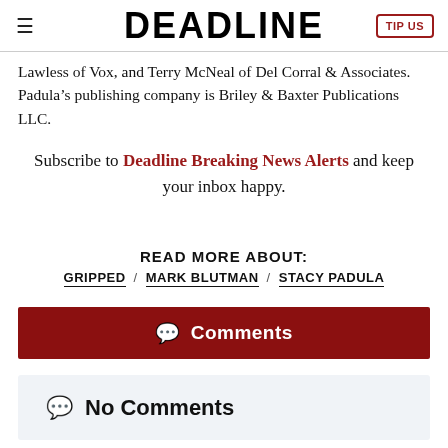DEADLINE
Lawless of Vox, and Terry McNeal of Del Corral & Associates. Padula’s publishing company is Briley & Baxter Publications LLC.
Subscribe to Deadline Breaking News Alerts and keep your inbox happy.
READ MORE ABOUT:
GRIPPED / MARK BLUTMAN / STACY PADULA
Comments
No Comments